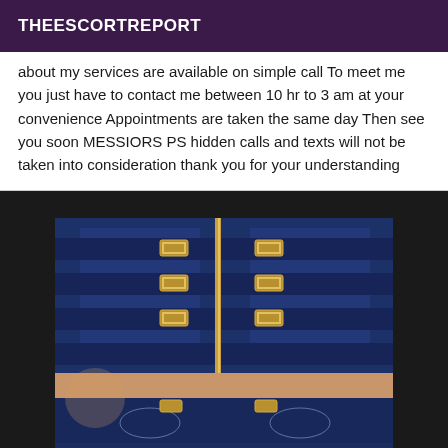THEESCORTREPORT
about my services are available on simple call To meet me you just have to contact me between 10 hr to 3 am at your convenience Appointments are taken the same day Then see you soon MESSIORS PS hidden calls and texts will not be taken into consideration thank you for your understanding
[Figure (photo): Close-up photo of a person wearing navy blue and white floral-patterned lingerie/corset with gold buckles and straps, showing the torso area]